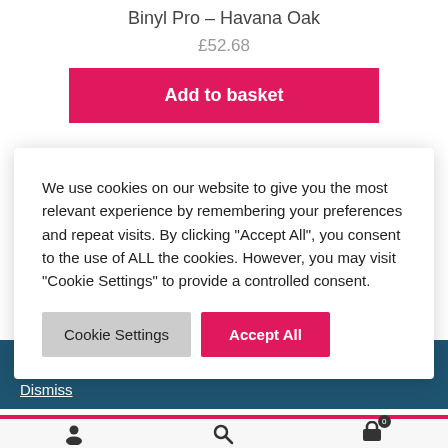Binyl Pro – Havana Oak
£52.68
Add to basket
We use cookies on our website to give you the most relevant experience by remembering your preferences and repeat visits. By clicking "Accept All", you consent to the use of ALL the cookies. However, you may visit "Cookie Settings" to provide a controlled consent.
Cookie Settings
Accept All
appointment. Click here to book an appointment. Dismiss